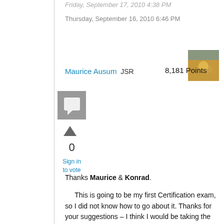Friday, September 17, 2010 4:38 PM
Thursday, September 16, 2010 6:46 PM
[Figure (photo): User avatar thumbnail showing an outdoor scene with yellow/golden tones]
Maurice Ausum JSR    8,181 Points
[Figure (other): Reply icon - square speech bubble icon in gray]
0
Sign in to vote
Thanks Maurice & Konrad.
This is going to be my first Certification exam, so I did not know how to go about it. Thanks for your suggestions – I think I would be taking the exam in another 3 – 4 weeks.